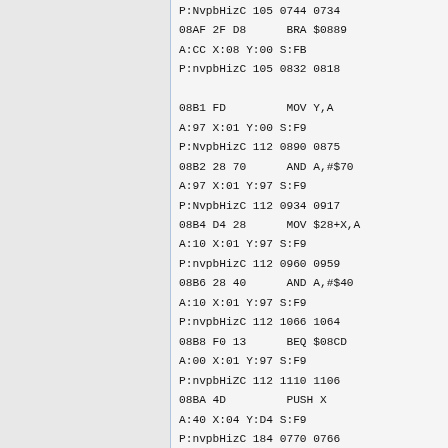P:NvpbHizC 105 0744 0734
08AF 2F D8      BRA $0889
A:CC X:08 Y:00 S:FB
P:nvpbHizC 105 0832 0818

08B1 FD        MOV Y,A
A:97 X:01 Y:00 S:F9
P:NvpbHizC 112 0890 0875
08B2 28 70      AND A,#$70
A:97 X:01 Y:97 S:F9
P:NvpbHizC 112 0934 0917
08B4 D4 28      MOV $28+X,A
A:10 X:01 Y:97 S:F9
P:nvpbHizC 112 0960 0959
08B6 28 40      AND A,#$40
A:10 X:01 Y:97 S:F9
P:nvpbHizC 112 1066 1064
08B8 F0 13      BEQ $08CD
A:00 X:01 Y:97 S:F9
P:nvpbHiZC 112 1110 1106
08BA 4D         PUSH X
A:40 X:04 Y:D4 S:F9
P:nvpbHizC 184 0770 0766
08BB DD         MOV A,Y
A:40 X:04 Y:D4 S:F8